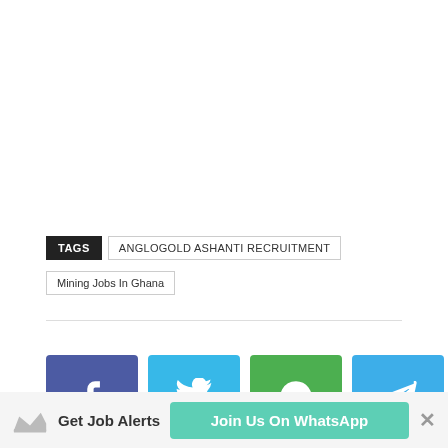TAGS   ANGLOGOLD ASHANTI RECRUITMENT   Mining Jobs In Ghana
[Figure (infographic): Social share buttons: Facebook (blue), Twitter (light blue), WhatsApp (green), Telegram (blue)]
Get Job Alerts   Join Us On WhatsApp